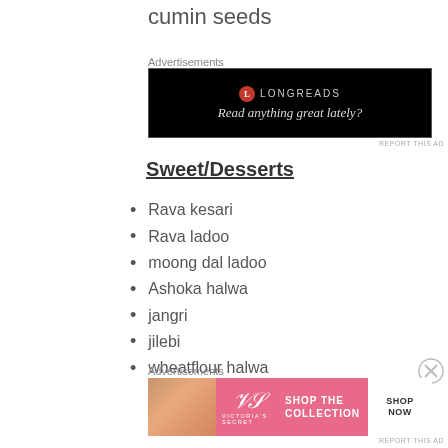cumin seeds
Advertisements
[Figure (other): Longreads advertisement: black background with Longreads logo and tagline 'Read anything great lately?']
Sweet/Desserts
Rava kesari
Rava ladoo
moong dal ladoo
Ashoka halwa
jangri
jilebi
wheatflour halwa
Advertisements
[Figure (other): Victoria's Secret advertisement: pink background with model photo, VS logo, 'SHOP THE COLLECTION' text, and 'SHOP NOW' button]